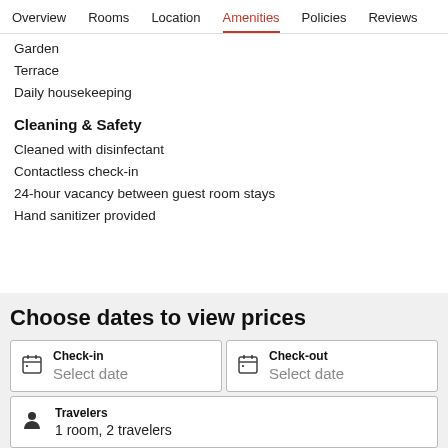Overview  Rooms  Location  Amenities  Policies  Reviews
Garden
Terrace
Daily housekeeping
Cleaning & Safety
Cleaned with disinfectant
Contactless check-in
24-hour vacancy between guest room stays
Hand sanitizer provided
Choose dates to view prices
Check-in Select date
Check-out Select date
Travelers 1 room, 2 travelers